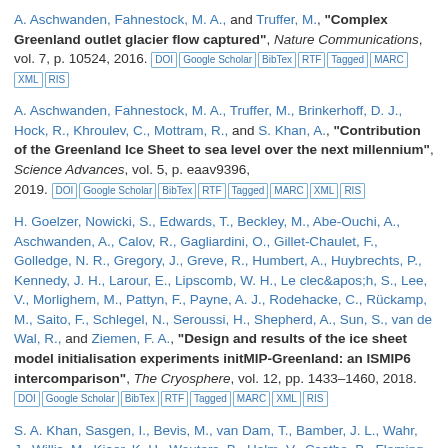A. Aschwanden, Fahnestock, M. A., and Truffer, M., "Complex Greenland outlet glacier flow captured", Nature Communications, vol. 7, p. 10524, 2016. [DOI][Google Scholar][BibTex][RTF][Tagged][MARC][XML][RIS]
A. Aschwanden, Fahnestock, M. A., Truffer, M., Brinkerhoff, D. J., Hock, R., Khroulev, C., Mottram, R., and S. Khan, A., "Contribution of the Greenland Ice Sheet to sea level over the next millennium", Science Advances, vol. 5, p. eaav9396, 2019. [DOI][Google Scholar][BibTex][RTF][Tagged][MARC][XML][RIS]
H. Goelzer, Nowicki, S., Edwards, T., Beckley, M., Abe-Ouchi, A., Aschwanden, A., Calov, R., Gagliardini, O., Gillet-Chaulet, F., Golledge, N. R., Gregory, J., Greve, R., Humbert, A., Huybrechts, P., Kennedy, J. H., Larour, E., Lipscomb, W. H., Le clec&apos;h, S., Lee, V., Morlighem, M., Pattyn, F., Payne, A. J., Rodehacke, C., Rückamp, M., Saito, F., Schlegel, N., Seroussi, H., Shepherd, A., Sun, S., van de Wal, R., and Ziemen, F. A., "Design and results of the ice sheet model initialisation experiments initMIP-Greenland: an ISMIP6 intercomparison", The Cryosphere, vol. 12, pp. 1433–1460, 2018. [DOI][Google Scholar][BibTex][RTF][Tagged][MARC][XML][RIS]
S. A. Khan, Sasgen, I., Bevis, M., van Dam, T., Bamber, J. L., Wahr, J., Willis, M., Kjaer, K. H., Wouters, B., Helm, V., Csatho, B., Fleming, K., Bjork, A. A., Aschwanden, A., Knudsen, P., and Munneke, P. Kuipers, "Geodetic measurements reveal similarities between post-Last